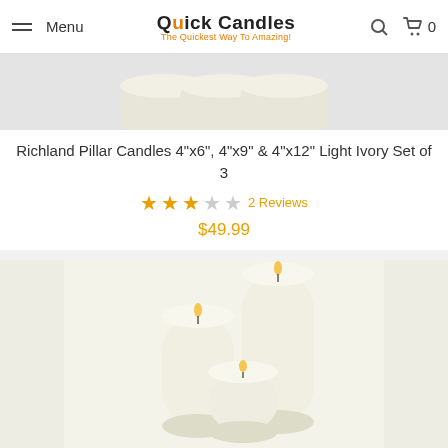Menu | Quick Candles - The Quickest Way To Amazing! | Search | Cart 0
[Figure (photo): Partial top view of light ivory tealight or pillar candles on light background]
Richland Pillar Candles 4"x6", 4"x9" & 4"x12" Light Ivory Set of 3
★★★☆☆ 2 Reviews
$49.99
[Figure (photo): Three light ivory pillar candles of different heights (4x4, 4x6, 4x9) arranged together with lit flames on white background]
Richland Pillar Candles 4 x4", 4"x6" & 4"x9" Light